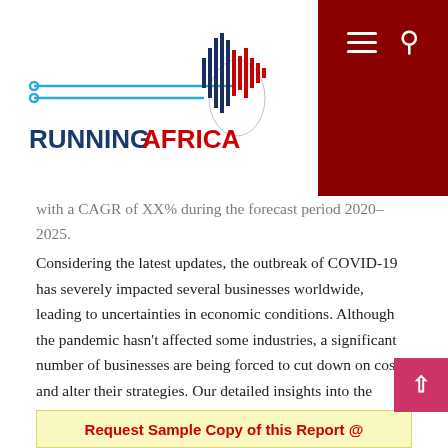RUNNINGAFRICA
with a CAGR of XX% during the forecast period 2020-2025.
Considering the latest updates, the outbreak of COVID-19 has severely impacted several businesses worldwide, leading to uncertainties in economic conditions. Although the pandemic hasn't affected some industries, a significant number of businesses are being forced to cut down on costs and alter their strategies. Our detailed insights into the changing market dynamics post the COVID-19 pandemic aims to help the partakers develop strong contingency plans to ensure strong returns in the future.
Request Sample Copy of this Report @